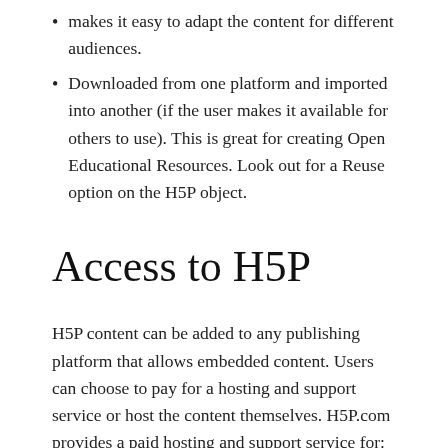makes it easy to adapt the content for different audiences.
Downloaded from one platform and imported into another (if the user makes it available for others to use). This is great for creating Open Educational Resources. Look out for a Reuse option on the H5P object.
Access to H5P
H5P content can be added to any publishing platform that allows embedded content. Users can choose to pay for a hosting and support service or host the content themselves. H5P.com provides a paid hosting and support service for: